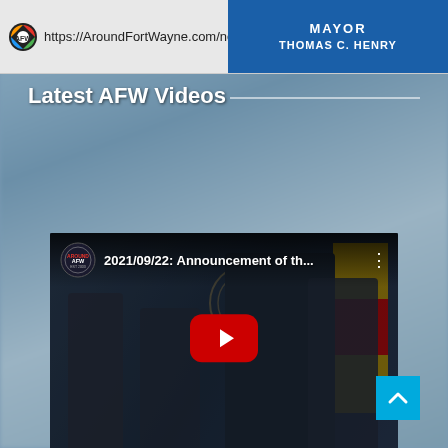[Figure (screenshot): Browser address bar showing URL https://AroundFortWayne.com/news/ and a blue sign reading MAYOR THOMAS C. HENRY]
Latest AFW Videos
[Figure (screenshot): YouTube embedded video player showing a press conference with title '2021/09/22: Announcement of th...' with Around Fort Wayne logo, play button, and controls showing 00:00 / 08:22]
[Figure (other): Blue back-to-top button with upward chevron arrow in bottom-right corner]